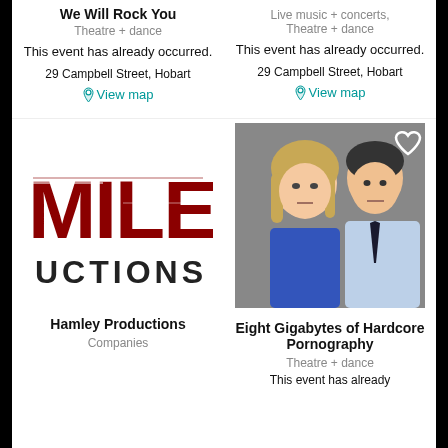We Will Rock You
Theatre + dance
This event has already occurred.
29 Campbell Street, Hobart
View map
Live music + concerts, Theatre + dance
This event has already occurred.
29 Campbell Street, Hobart
View map
[Figure (logo): Hamley Productions logo with red distressed MILE text and UCTIONS below]
Hamley Productions
Companies
[Figure (photo): Photo of a woman and man with serious expressions, heart icon overlay top right]
Eight Gigabytes of Hardcore Pornography
Theatre + dance
This event has already